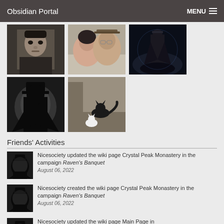Obsidian Portal   MENU
[Figure (photo): Grid of 5 photos: vintage black-and-white portrait of a young man in suit; couple selfie man with hat and woman; fantasy character in dark coat on horseback; noir silhouette figure with hat; two cats one black one white]
Friends' Activities
Nicesociety updated the wiki page Crystal Peak Monastery in the campaign Raven's Banquet
August 06, 2022
Nicesociety created the wiki page Crystal Peak Monastery in the campaign Raven's Banquet
August 06, 2022
Nicesociety updated the wiki page Main Page in